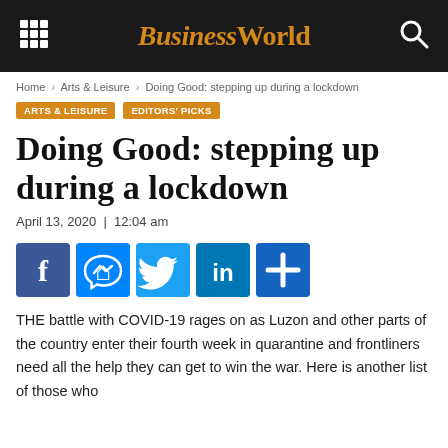BusinessWorld
Home > Arts & Leisure > Doing Good: stepping up during a lockdown
ARTS & LEISURE   EDITORS' PICKS
Doing Good: stepping up during a lockdown
April 13, 2020  |  12:04 am
[Figure (other): Social media share buttons: Facebook, Messenger, Twitter, LinkedIn, More]
THE battle with COVID-19 rages on as Luzon and other parts of the country enter their fourth week in quarantine and frontliners need all the help they can get to win the war. Here is another list of those who